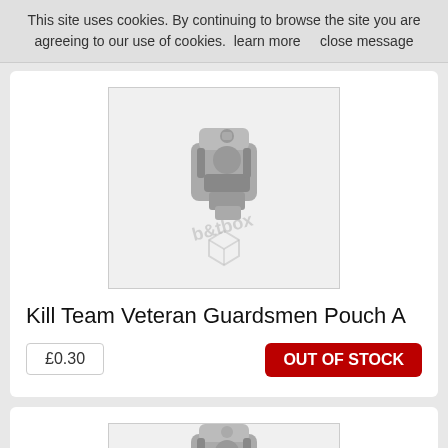This site uses cookies. By continuing to browse the site you are agreeing to our use of cookies.  learn more      close message
[Figure (photo): Grayscale photo of a small resin miniature — Kill Team Veteran Guardsmen Pouch A — a small military-style equipment pouch, with a BitBox watermark overlay]
Kill Team Veteran Guardsmen Pouch A
£0.30
OUT OF STOCK
[Figure (photo): Grayscale photo of a second small resin miniature — a similar military pouch piece — with a BitBox watermark overlay, partially cropped at bottom]
[Figure (other): Green back-to-top button with upward chevron arrow]